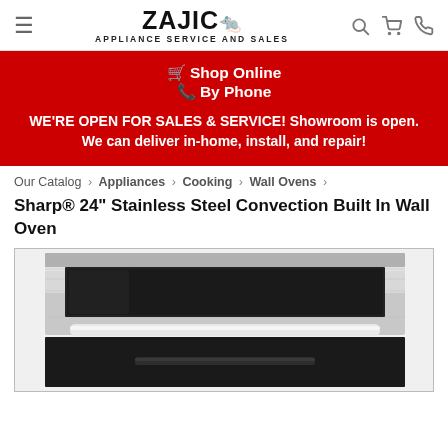ZAJIC APPLIANCE SERVICE AND SALES
🛒 Shop Online
📞 By Phone
WE'RE OPEN FOR SALES & SERVICE! Showroom is open. We can deliver in-home, install, and repair!
Our Catalog › Appliances › Cooking › Wall Ovens ›
Sharp® 24" Stainless Steel Convection Built In Wall Oven
[Figure (photo): Sharp 24 inch stainless steel convection built-in wall oven, showing the top portion of the appliance with stainless steel front panel and black drawer below]